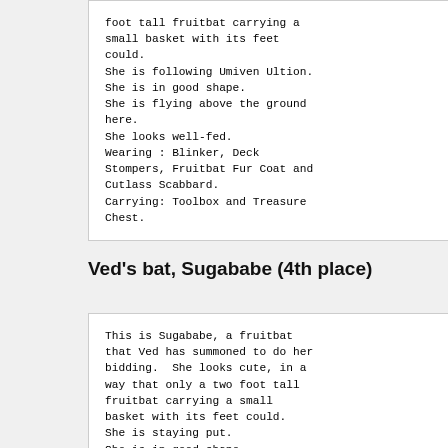foot tall fruitbat carrying a small basket with its feet could.
She is following Umiven Ultion.
She is in good shape.
She is flying above the ground here.
She looks well-fed.
Wearing : Blinker, Deck Stompers, Fruitbat Fur Coat and Cutlass Scabbard.
Carrying: Toolbox and Treasure Chest.
Ved's bat, Sugababe (4th place)
This is Sugababe, a fruitbat that Ved has summoned to do her bidding.  She looks cute, in a way that only a two foot tall fruitbat carrying a small basket with its feet could.
She is staying put.
She is in good shape.
She is flapping sadly close to the ground here.
She looks well-fed.
Wearing : a pair of fur-lined leather boots, a pink furry wing cosy, a pair of furry